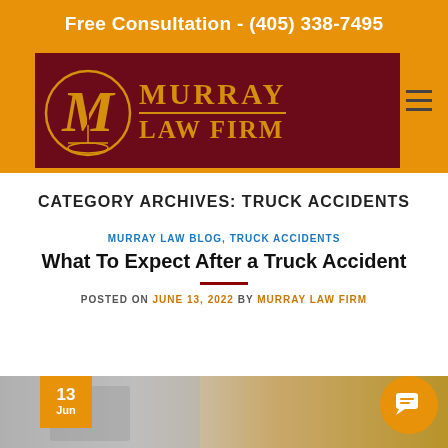Free Consultation - (405) 338-7495
[Figure (logo): Murray Law Firm logo with golden M emblem and text on dark red background]
CATEGORY ARCHIVES: TRUCK ACCIDENTS
MURRAY LAW BLOG, TRUCK ACCIDENTS
What To Expect After a Truck Accident
POSTED ON JUNE 13, 2022 BY MURRAY LAW FIRM
[Figure (photo): Photo strip showing blurred legal/office scene with date badge showing 13 Jun and orange chat bubble icon]